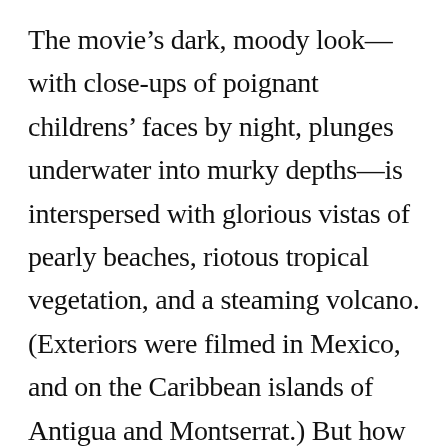The movie's dark, moody look—with close-ups of poignant childrens' faces by night, plunges underwater into murky depths—is interspersed with glorious vistas of pearly beaches, riotous tropical vegetation, and a steaming volcano. (Exteriors were filmed in Mexico, and on the Caribbean islands of Antigua and Montserrat.) But how